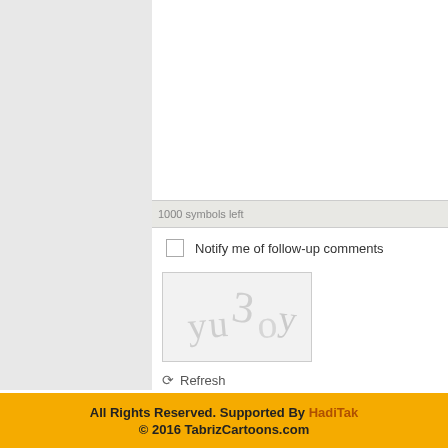[Figure (screenshot): Web form with textarea (comment input), '1000 symbols left' counter bar, 'Notify me of follow-up comments' checkbox, CAPTCHA image showing distorted text 'yu3oy', Refresh link, captcha text input field, and Send button. Left sidebar is grey, right content area is light cream/white.]
1000 symbols left
Notify me of follow-up comments
Refresh
Send
JComme...
All Rights Reserved. Supported By HadiTak
© 2016 TabrizCartoons.com